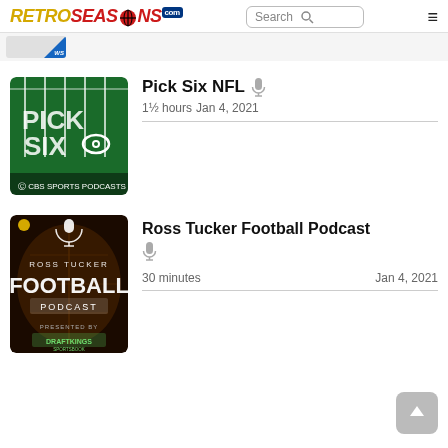RetroSeasons.com - Search - hamburger menu
[Figure (screenshot): Partial banner with WS logo]
[Figure (illustration): Pick Six NFL podcast artwork - CBS Sports Podcasts, green field background with PICK SIX text and CBS eye logo]
Pick Six NFL  🎤
1½ hours  Jan 4, 2021
[Figure (illustration): Ross Tucker Football Podcast artwork - dark football texture background with FOOTBALL PODCAST text and DraftKings Sportsbook logo]
Ross Tucker Football Podcast  🎤
30 minutes    Jan 4, 2021